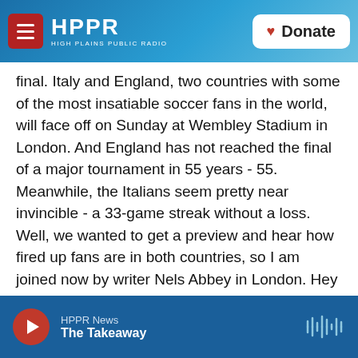HPPR — HIGH PLAINS PUBLIC RADIO | Donate
final. Italy and England, two countries with some of the most insatiable soccer fans in the world, will face off on Sunday at Wembley Stadium in London. And England has not reached the final of a major tournament in 55 years - 55. Meanwhile, the Italians seem pretty near invincible - a 33-game streak without a loss. Well, we wanted to get a preview and hear how fired up fans are in both countries, so I am joined now by writer Nels Abbey in London. Hey there, Nels.
NELS ABBEY: Hello.
KELLY: And I am a listener of The New York...
HPPR News — The Takeaway